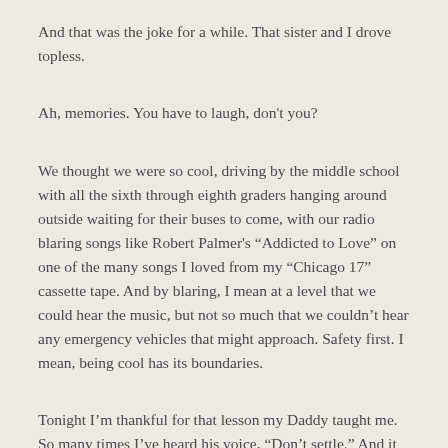And that was the joke for a while. That sister and I drove topless.
Ah, memories. You have to laugh, don't you?
We thought we were so cool, driving by the middle school with all the sixth through eighth graders hanging around outside waiting for their buses to come, with our radio blaring songs like Robert Palmer's “Addicted to Love” on one of the many songs I loved from my “Chicago 17” cassette tape. And by blaring, I mean at a level that we could hear the music, but not so much that we couldn’t hear any emergency vehicles that might approach. Safety first. I mean, being cool has its boundaries.
Tonight I’m thankful for that lesson my Daddy taught me. So many times I’ve heard his voice, “Don’t settle.” And it has saved me from making poor choices on